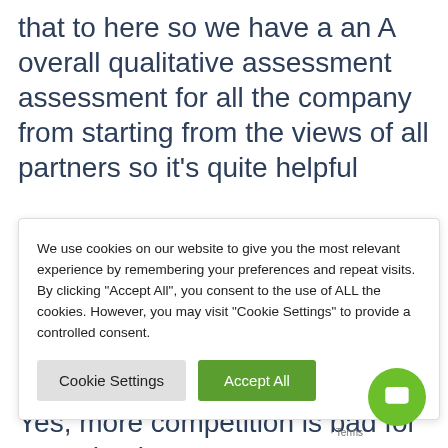that to here so we have a an A overall qualitative assessment assessment for all the company from starting from the views of all partners so it's quite helpful
We use cookies on our website to give you the most relevant experience by remembering your preferences and repeat visits. By clicking "Accept All", you consent to the use of ALL the cookies. However, you may visit "Cookie Settings" to provide a controlled consent.
aspects of valuation right what is pizza what is you know, a margin, but these things here they intuitively understand right? It's competition Yes, more competition is bad for my valuation, right? Better management quality is